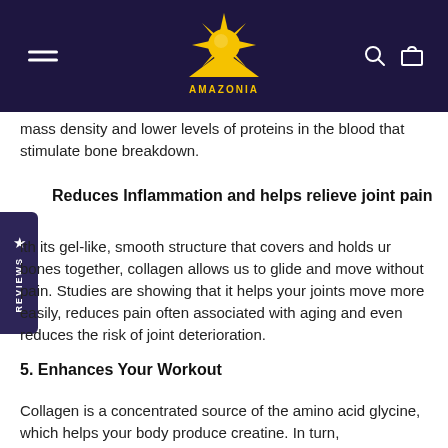AMAZONIA logo navigation bar
mass density and lower levels of proteins in the blood that stimulate bone breakdown.
Reduces Inflammation and helps relieve joint pain
With its gel-like, smooth structure that covers and holds our bones together, collagen allows us to glide and move without pain. Studies are showing that it helps your joints move more easily, reduces pain often associated with aging and even reduces the risk of joint deterioration.
5. Enhances Your Workout
Collagen is a concentrated source of the amino acid glycine, which helps your body produce creatine. In turn,